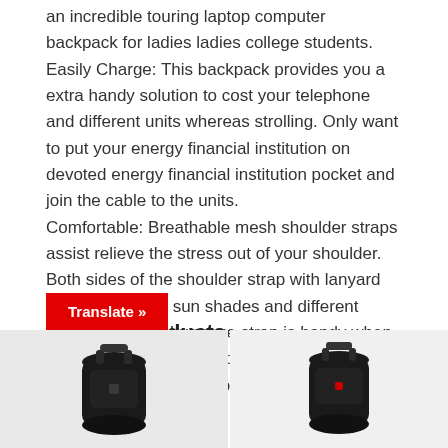an incredible touring laptop computer backpack for ladies ladies college students.
Easily Charge: This backpack provides you a extra handy solution to cost your telephone and different units whereas strolling. Only want to put your energy financial institution on devoted energy financial institution pocket and join the cable to the units.
Comfortable: Breathable mesh shoulder straps assist relieve the stress out of your shoulder. Both sides of the shoulder strap with lanyard design can cling sun shades and different small pendants. Luggage strap is handy when journey. It’s an expert laptop computer backpack, workplace work backpack, faculty bookbag.
Related products
[Figure (photo): Black backpack product image on left]
[Figure (photo): Black backpack product image on right]
Translate »